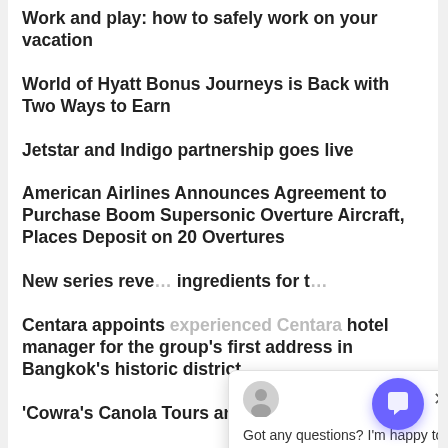Work and play: how to safely work on your vacation
World of Hyatt Bonus Journeys is Back with Two Ways to Earn
Jetstar and Indigo partnership goes live
American Airlines Announces Agreement to Purchase Boom Supersonic Overture Aircraft, Places Deposit on 20 Overtures
New series reve… ingredients for t…
Centara appoints experienced Centara hotel manager for the group's first address in Bangkok's historic district
'Cowra's Canola Tours and Blooming